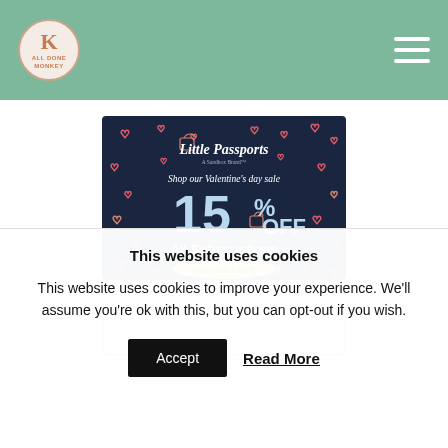Website header with logo and hamburger menu
[Figure (illustration): Little Passports Valentine's day sale advertisement: dark navy background with heart decorations, text 'Little Passports', 'Shop our Valentine's day sale', '15% OFF', 'All Subscriptions', 'Use code LOVE']
[Figure (illustration): Partially visible second advertisement with green rounded border at bottom of visible area]
This website uses cookies
This website uses cookies to improve your experience. We'll assume you're ok with this, but you can opt-out if you wish.
Accept | Read More